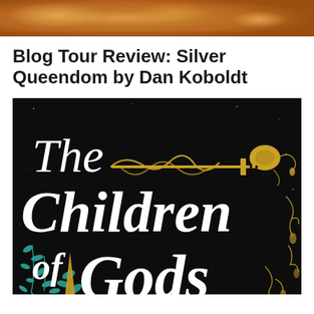[Figure (photo): Top portion of a photo showing a warm orange/amber colored food or texture background]
Blog Tour Review: Silver Queendom by Dan Koboldt
[Figure (illustration): Book cover of 'The Children of Gods' with a dark black background featuring white and teal decorative typography, gold ornamental sword design, and teal leaf/floral motifs]